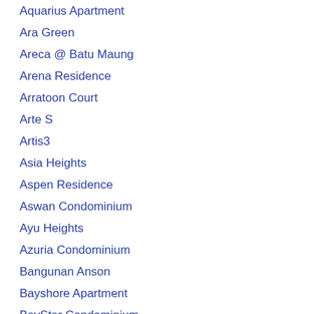Aquarius Apartment
Ara Green
Areca @ Batu Maung
Arena Residence
Arratoon Court
Arte S
Artis3
Asia Heights
Aspen Residence
Aswan Condominium
Ayu Heights
Azuria Condominium
Bangunan Anson
Bayshore Apartment
BayStar Condominium
Bayswater Condo
Bayu Ferringhi Condo
Beacon @ Georgetown